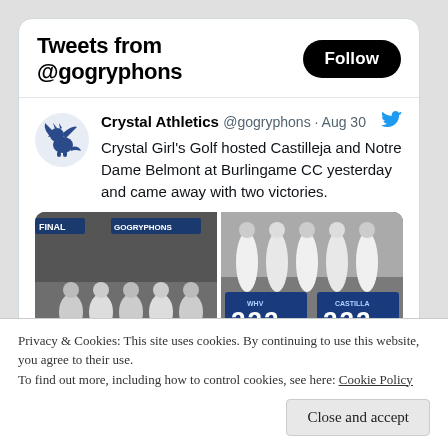Tweets from @gogryphons
Crystal Athletics @gogryphons · Aug 30
Crystal Girl's Golf hosted Castilleja and Notre Dame Belmont at Burlingame CC yesterday and came away with two victories.
[Figure (photo): Two side-by-side grayscale photos of a girls golf team. Left image shows team members grouped together with a scoreboard in background showing GOGRYPHONS. Right image shows team members standing in a line with a score display showing 222 222.]
Privacy & Cookies: This site uses cookies. By continuing to use this website, you agree to their use.
To find out more, including how to control cookies, see here: Cookie Policy